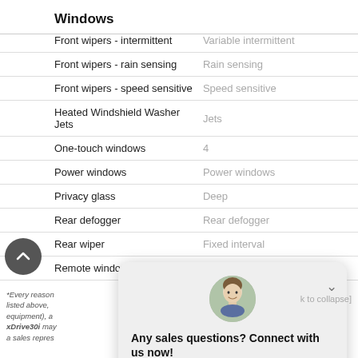Windows
| Feature | Value |
| --- | --- |
| Front wipers - intermittent | Variable intermittent |
| Front wipers - rain sensing | Rain sensing |
| Front wipers - speed sensitive | Speed sensitive |
| Heated Windshield Washer Jets | Jets |
| One-touch windows | 4 |
| Power windows | Power windows |
| Privacy glass | Deep |
| Rear defogger | Rear defogger |
| Rear wiper | Fixed interval |
| Remote window operation | Yes |
[Figure (screenshot): Chat widget overlay with agent avatar, 'Any sales questions? Connect with us now!' prompt, and TEXT and CHAT buttons]
*Every reason... the information listed above... ling standard equipment), a... 018 BMW X3 xDrive30i may... e confirm with a sales repres...